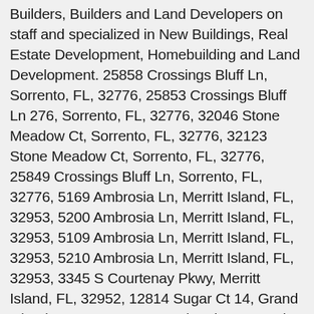Builders, Builders and Land Developers on staff and specialized in New Buildings, Real Estate Development, Homebuilding and Land Development. 25858 Crossings Bluff Ln, Sorrento, FL, 32776, 25853 Crossings Bluff Ln 276, Sorrento, FL, 32776, 32046 Stone Meadow Ct, Sorrento, FL, 32776, 32123 Stone Meadow Ct, Sorrento, FL, 32776, 25849 Crossings Bluff Ln, Sorrento, FL, 32776, 5169 Ambrosia Ln, Merritt Island, FL, 32953, 5200 Ambrosia Ln, Merritt Island, FL, 32953, 5109 Ambrosia Ln, Merritt Island, FL, 32953, 5210 Ambrosia Ln, Merritt Island, FL, 32953, 3345 S Courtenay Pkwy, Merritt Island, FL, 32952, 12814 Sugar Ct 14, Grand Island, FL, 32735, 5249 Ambrosia Ln, Merritt Island, FL, 32953, 5250 Ambrosia Ln, Merritt Island, FL, 32953, 25862 Crossings Bluff Ln, Sorrento, FL, 32776, 3355 S Courtenay Pkwy, Merritt Island, FL, 32952, 2725 Haiden Oaks Dr, Jacksonville, FL, 32223, 5139 Ambrosia Ln, Merritt Island, FL, 32953, 6620 Still Point Dr, Melbourne, FL, 32940